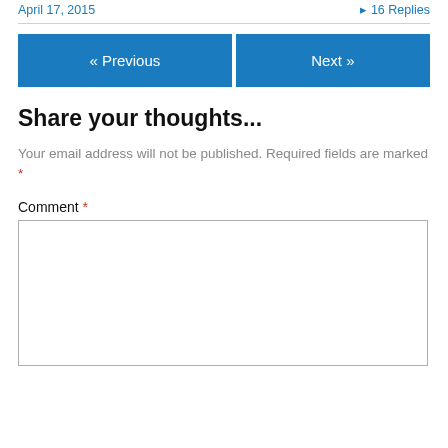April 17, 2015   ▸ 16 Replies
« Previous   Next »
Share your thoughts...
Your email address will not be published. Required fields are marked *
Comment *